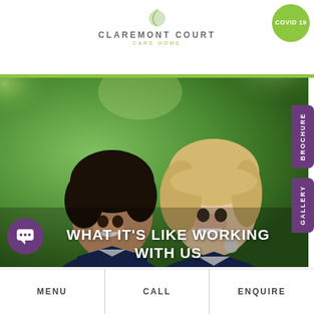[Figure (logo): Claremont Court Care Home logo with leaf icon]
[Figure (photo): Two female care home workers in navy uniforms smiling and laughing together outdoors with green foliage background]
WHAT IT'S LIKE WORKING WITH US
COVID 19
BROCHURE
GALLERY
MENU
CALL
ENQUIRE